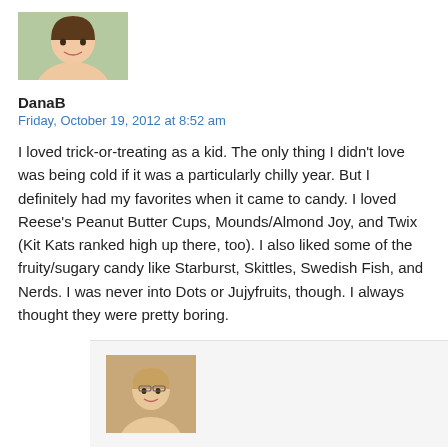[Figure (photo): Avatar photo of DanaB, woman smiling outdoors]
DanaB
Friday, October 19, 2012 at 8:52 am
I loved trick-or-treating as a kid. The only thing I didn't love was being cold if it was a particularly chilly year. But I definitely had my favorites when it came to candy. I loved Reese's Peanut Butter Cups, Mounds/Almond Joy, and Twix (Kit Kats ranked high up there, too). I also liked some of the fruity/sugary candy like Starburst, Skittles, Swedish Fish, and Nerds. I was never into Dots or Jujyfruits, though. I always thought they were pretty boring.
[Figure (photo): Avatar photo of second commenter, woman with glasses]